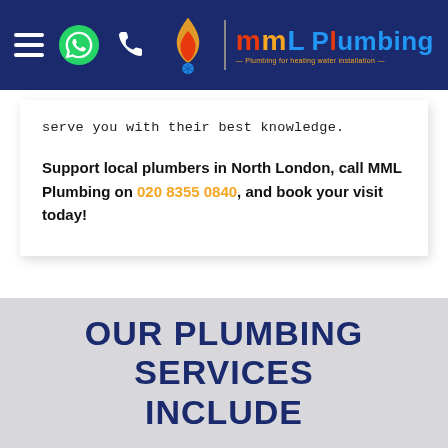[Figure (logo): MML Plumbing logo with flame/water droplet icon, company name in blue and red/orange colors, tagline below]
serve you with their best knowledge.
Support local plumbers in North London, call MML Plumbing on 020 8355 0840, and book your visit today!
OUR PLUMBING SERVICES INCLUDE